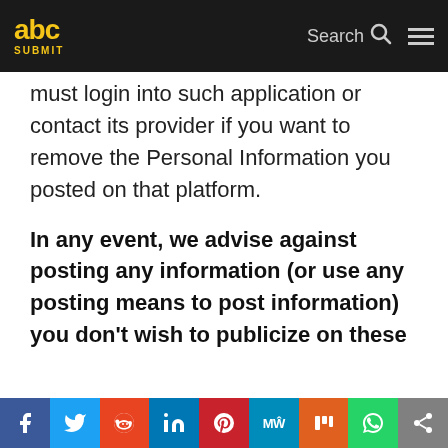abc SUBMIT | Search | Menu
must login into such application or contact its provider if you want to remove the Personal Information you posted on that platform.
In any event, we advise against posting any information (or use any posting means to post information) you don't wish to publicize on these
Social share bar: Facebook, Twitter, Reddit, LinkedIn, Pinterest, MeWe, Mix, WhatsApp, Share